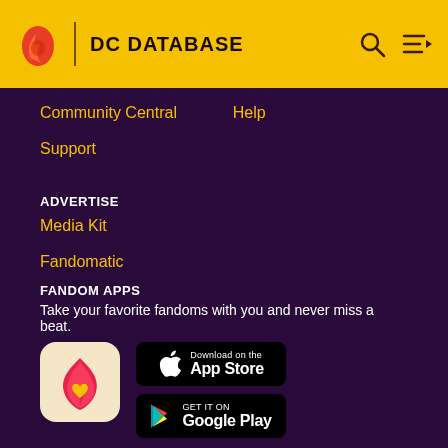DC DATABASE
Community Central
Help
Support
ADVERTISE
Media Kit
Fandomatic
Contact
FANDOM APPS
Take your favorite fandoms with you and never miss a beat.
[Figure (logo): Fandom app icon - pink flame with yellow heart on light background]
[Figure (screenshot): Download on the App Store button]
[Figure (screenshot): GET IT ON Google Play button]